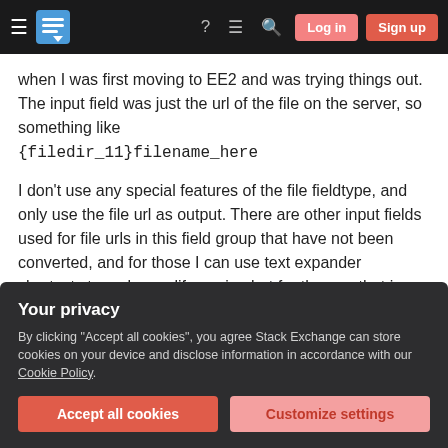Stack Exchange navigation bar with Log in and Sign up buttons
when I was first moving to EE2 and was trying things out. The input field was just the url of the file on the server, so something like {filedir_11}filename_here
I don't use any special features of the file fieldtype, and only use the file url as output. There are other input fields used for file urls in this field group that have not been converted, and for those I can use text expander shortcuts to make my life easier, but for the one that is a file type field I have to mouse
Your privacy
By clicking "Accept all cookies", you agree Stack Exchange can store cookies on your device and disclose information in accordance with our Cookie Policy.
this, but I'm not currently familiar enough with how